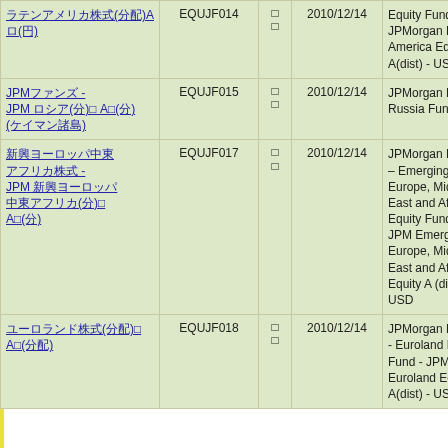| 名称 | コード |  | 設定日 | 英語名 |
| --- | --- | --- | --- | --- |
| ラテンアメリカ株式(分配)Aロ(円) | EQUJF014 | □□ | 2010/12/14 | Latin America Equity Fund - JPMorgan Latin America Equity A(dist) - USD |
| JPMファンズ - JPM ロシア(分)□ A□(分) (ケイマン諸島) | EQUJF015 | □□ | 2010/12/14 | JPMorgan Funds Russia Fund |
| 新興ヨーロッパ中東アフリカ株式 - JPM 新興ヨーロッパ中東アフリカ(分)□ A□(分) | EQUJF017 | □□ | 2010/12/14 | JPMorgan Funds – Emerging Europe, Middle East and Africa Equity Fund - JPM Emerging Europe, Middle East and Africa Equity A (dist) - USD |
| ユーロランド株式(分配)□ A□(分配) | EQUJF018 | □□ | 2010/12/14 | JPMorgan Funds - Euroland Equity Fund - JPMorgan Euroland Equity A(dist) - USD |